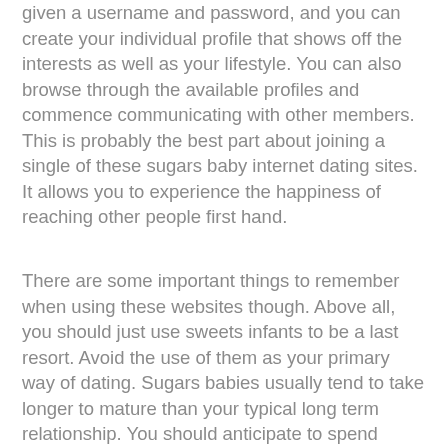given a username and password, and you can create your individual profile that shows off the interests as well as your lifestyle. You can also browse through the available profiles and commence communicating with other members. This is probably the best part about joining a single of these sugars baby internet dating sites. It allows you to experience the happiness of reaching other people first hand.
There are some important things to remember when using these websites though. Above all, you should just use sweets infants to be a last resort. Avoid the use of them as your primary way of dating. Sugars babies usually tend to take longer to mature than your typical long term relationship. You should anticipate to spend several months getting to know